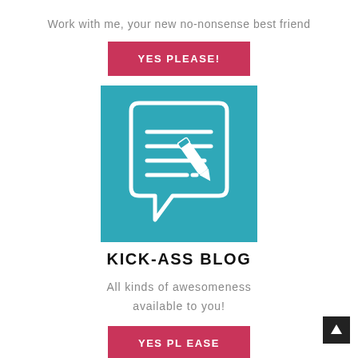Work with me, your new no-nonsense best friend
YES PLEASE!
[Figure (illustration): Teal square icon with a white speech bubble containing horizontal lines and a pencil/edit symbol]
KICK-ASS BLOG
All kinds of awesomeness available to you!
YES PLEASE